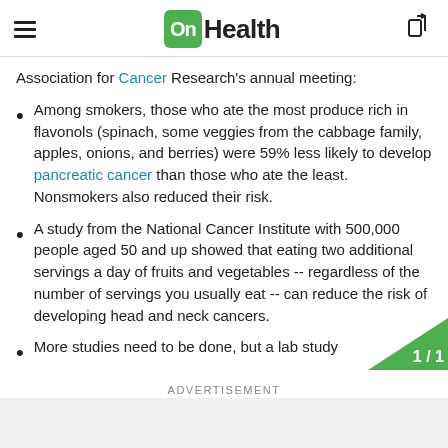OnHealth
Association for Cancer Research's annual meeting:
Among smokers, those who ate the most produce rich in flavonols (spinach, some veggies from the cabbage family, apples, onions, and berries) were 59% less likely to develop pancreatic cancer than those who ate the least. Nonsmokers also reduced their risk.
A study from the National Cancer Institute with 500,000 people aged 50 and up showed that eating two additional servings a day of fruits and vegetables -- regardless of the number of servings you usually eat -- can reduce the risk of developing head and neck cancers.
More studies need to be done, but a lab study
ADVERTISEMENT